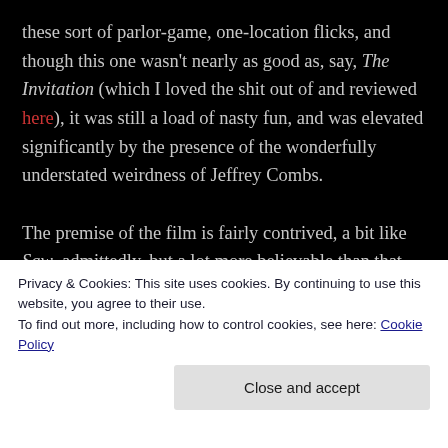these sort of parlor-game, one-location flicks, and though this one wasn't nearly as good as, say, The Invitation (which I loved the shit out of and reviewed here), it was still a load of nasty fun, and was elevated significantly by the presence of the wonderfully understated weirdness of Jeffrey Combs.

The premise of the film is fairly contrived, a bit like Saw, admittedly, but a lot more believable than that. Main character Iris (Brittany Snow) returns to her hometown after the death of her parents to care for her teenage brother Raleigh (Logan Miller), who has leukemia and
Privacy & Cookies: This site uses cookies. By continuing to use this website, you agree to their use.
To find out more, including how to control cookies, see here: Cookie Policy
Close and accept